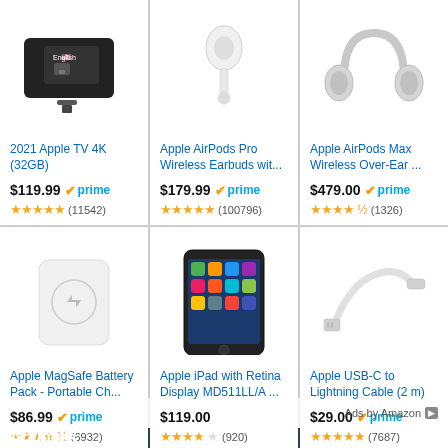[Figure (screenshot): Amazon product grid showing 6 Apple products with prices, prime badges, and star ratings]
2021 Apple TV 4K (32GB) $119.99 prime ★★★★★ (11542)
Apple AirPods Pro Wireless Earbuds wit... $179.99 prime ★★★★★ (100796)
Apple AirPods Max Wireless Over-Ear ... $479.00 prime ★★★★½ (1326)
Apple MagSafe Battery Pack - Portable Ch... $86.99 prime ★★★★½ (6932)
Apple iPad with Retina Display MD511LL/A ... $119.00 ★★★★☆ (920)
Apple USB-C to Lightning Cable (2 m) $29.00 prime ★★★★★ (7687)
Ads by Amazon
Archives